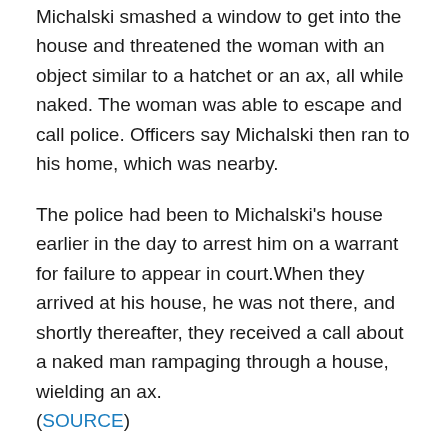Michalski smashed a window to get into the house and threatened the woman with an object similar to a hatchet or an ax, all while naked. The woman was able to escape and call police. Officers say Michalski then ran to his home, which was nearby.
The police had been to Michalski's house earlier in the day to arrest him on a warrant for failure to appear in court.When they arrived at his house, he was not there, and shortly thereafter, they received a call about a naked man rampaging through a house, wielding an ax. (SOURCE)
Aleksander Michalski has had a lot of run ins with the Glen Falls police since moving there from New York, which is quite a contrast to his service as a police officer in New